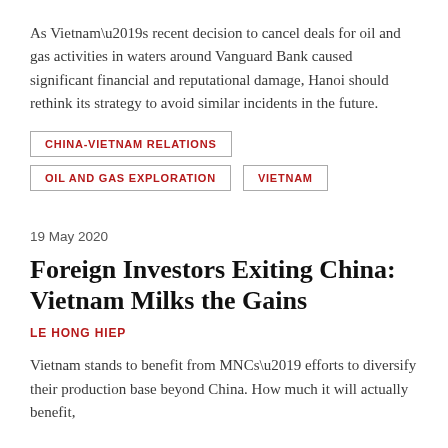As Vietnam’s recent decision to cancel deals for oil and gas activities in waters around Vanguard Bank caused significant financial and reputational damage, Hanoi should rethink its strategy to avoid similar incidents in the future.
CHINA-VIETNAM RELATIONS
OIL AND GAS EXPLORATION
VIETNAM
19 May 2020
Foreign Investors Exiting China: Vietnam Milks the Gains
LE HONG HIEP
Vietnam stands to benefit from MNCs’ efforts to diversify their production base beyond China. How much it will actually benefit,